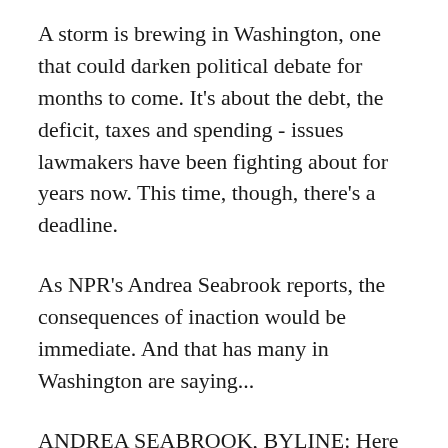A storm is brewing in Washington, one that could darken political debate for months to come. It's about the debt, the deficit, taxes and spending - issues lawmakers have been fighting about for years now. This time, though, there's a deadline.
As NPR's Andrea Seabrook reports, the consequences of inaction would be immediate. And that has many in Washington are saying...
ANDREA SEABROOK, BYLINE: Here we go again. In the past week, President Barack Obama and House Speaker John Boehner have begun a new round of sparring over the U.S. debt ceiling. That's the limit on the country's line of credit, a limit that lawmakers have set and raised dozens of times over the years, as the federal government has spent more